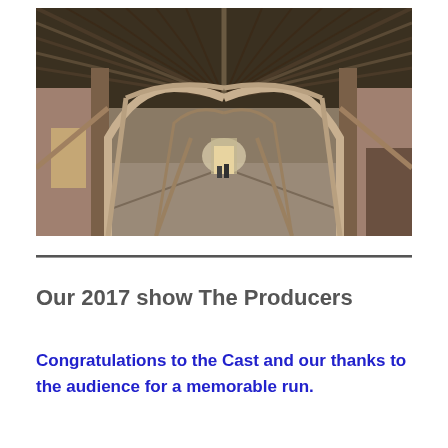[Figure (photo): Interior of a large historic barn with exposed wooden timber frame roof trusses, arched supports, and a central aisle perspective leading to light at the far end. Two figures visible in the distance.]
Our 2017 show The Producers
Congratulations to the Cast and our thanks to the audience for a memorable run.